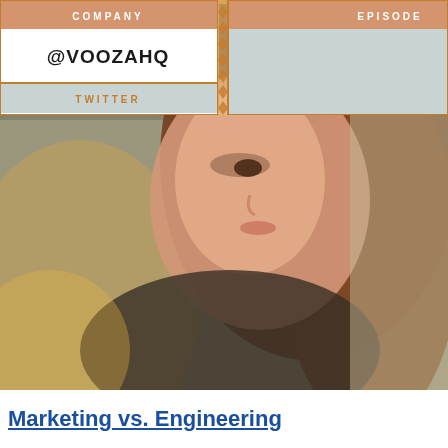[Figure (other): Info card overlay with two columns. Left column shows label COMPANY, value @VOOZAHQ, label TWITTER. Right column shows label EPISODE. Both columns have orange/tan color scheme borders.]
[Figure (photo): Close-up photo of a young woman with long brown hair, slightly smiling, blurred background with warm tones.]
Marketing vs. Engineering